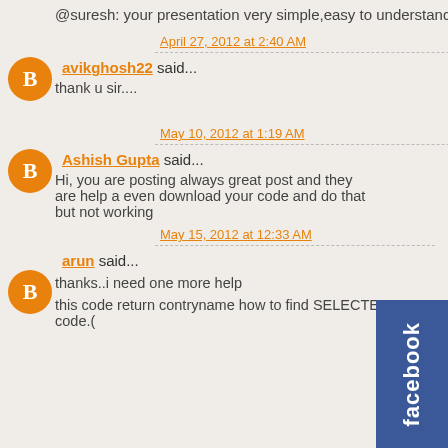@suresh: your presentation very simple,easy to understand.. It re
April 27, 2012 at 2:40 AM
avikghosh22 said...
thank u sir....
May 10, 2012 at 1:19 AM
Ashish Gupta said...
Hi, you are posting always great post and they are help a even download your code and do that but not working
May 15, 2012 at 12:33 AM
arun said...
thanks..i need one more help
this code return contryname how to find SELECTED contry code.(